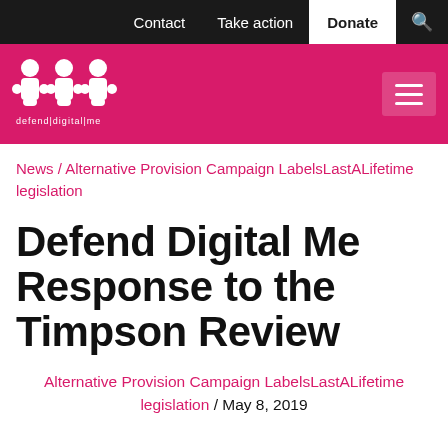Contact | Take action | Donate | [search icon]
[Figure (logo): Defend Digital Me logo — white puzzle-piece figures on pink background with text 'defend|digital|me']
News / Alternative Provision Campaign LabelsLastALifetime legislation
Defend Digital Me Response to the Timpson Review
Alternative Provision Campaign LabelsLastALifetime legislation / May 8, 2019